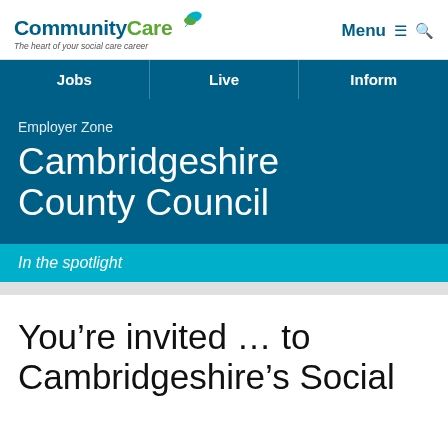CommunityCare — The heart of your social care career | Menu
Jobs | Live | Inform
Employer Zone
Cambridgeshire County Council
In the spotlight
You're invited … to Cambridgeshire's Social